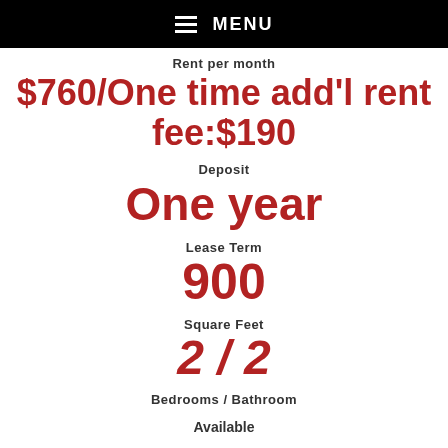MENU
Rent per month
$760/One time add'l rent fee:$190
Deposit
One year
Lease Term
900
Square Feet
2 / 2
Bedrooms / Bathroom
Available